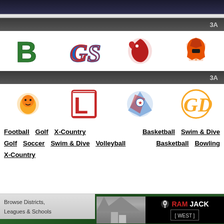[Figure (screenshot): Dark top navigation bar of a sports website]
3A
[Figure (illustration): Row of school team logos: green B logo, blue/red SC script logo, red eagle logo, orange knight logo]
3A
[Figure (illustration): Row of school team logos: yellow lion, red L Lancers logo, patriot flag logo, gold GD script logo]
Football   Golf   X-Country   Basketball   Swim & Dive
Golf   Soccer   Swim & Dive   Volleyball   Basketball   Bowling
X-Country
Browse Districts, Leagues & Schools
[Figure (photo): RamJack West advertisement banner with house roof photo]